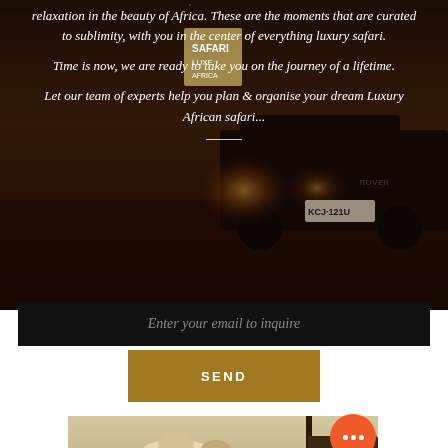[Figure (photo): Dark moody photo of a Land Rover safari vehicle at night/dusk with glowing headlights against an African landscape, with white italic text overlaid]
relaxation in the beauty of Africa. These are the moments that are curated to sublimity, with you in the center of everything luxury safari.
Time is now, we are ready to take you on the journey of a lifetime.
Let our team of experts help you plan & organise your dream Luxury African safari...
Enter your email to inquire
SEND
[Figure (photo): Two people wearing wide-brim hats sitting in a savanna landscape looking at a map, with an orange chat bubble overlay showing three dots]